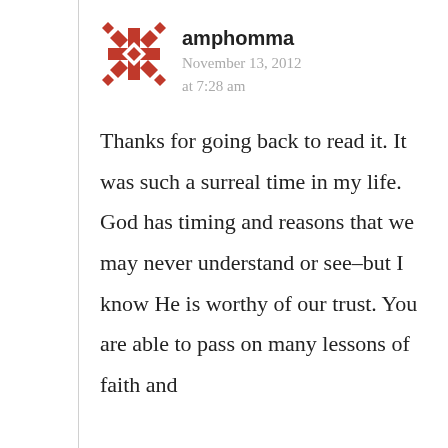[Figure (logo): Red decorative snowflake/cross pattern avatar icon for user amphomma]
amphomma
November 13, 2012 at 7:28 am
Thanks for going back to read it. It was such a surreal time in my life. God has timing and reasons that we may never understand or see–but I know He is worthy of our trust. You are able to pass on many lessons of faith and